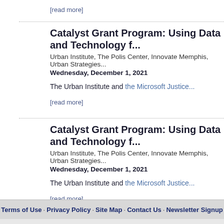[read more]
Catalyst Grant Program: Using Data and Technology f...
Urban Institute, The Polis Center, Innovate Memphis, Urban Strategies...
Wednesday, December 1, 2021
The Urban Institute and the Microsoft Justice...
[read more]
Catalyst Grant Program: Using Data and Technology f...
Urban Institute, The Polis Center, Innovate Memphis, Urban Strategies...
Wednesday, December 1, 2021
The Urban Institute and the Microsoft Justice...
[read more]
Terms of Use · Privacy Policy · Site Map · Contact Us · Newsletter Signup